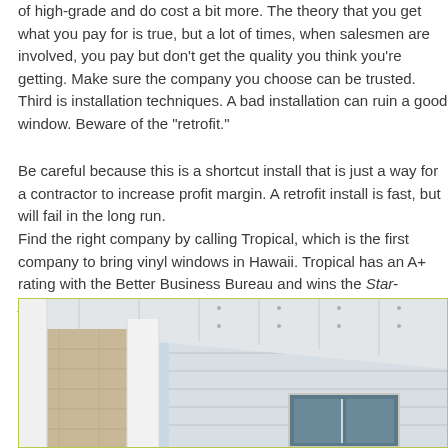of high-grade and do cost a bit more. The theory that you get what you pay for is true, but a lot of times, when salesmen are involved, you pay but don't get the quality you think you're getting. Make sure the company you choose can be trusted.
Third is installation techniques. A bad installation can ruin a good window. Beware of the “retrofit.”
Be careful because this is a shortcut install that is just a way for a contractor to increase profit margin. A retrofit install is fast, but will fail in the long run.
Find the right company by calling Tropical, which is the first company to bring vinyl windows in Hawaii. Tropical has an A+ rating with the Better Business Bureau and wins the Star-Advertiser’s Hawaii’s Best award every year. Tropical has more than 70,000 customers, and has been around for more than 60 years. It is the only full-service vinyl window and siding company in Hawaii.
[Figure (photo): Exterior photo of a building showing white vinyl siding panels and structural columns with a window visible, taken from a low angle looking up.]